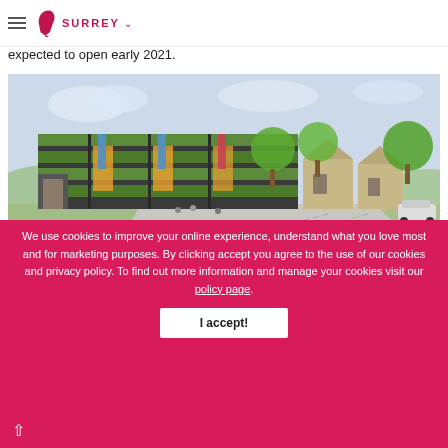Surrey (logo with high-heel icon, dropdown)
expected to open early 2021.
[Figure (illustration): Architectural rendering of a new community building with green cladding, display banners, trees, and adjacent traditional buildings along a wide street.]
We use cookies to improve your online experience, understand what you love most and for marketing purposes. By clicking accept you agree to the use of our cookies and privacy policy. To find out more information and manage your cookies visit our policy page.
£150 a year to use some decent sport, drama and music facilities, and Crowthorne has invested heavily in the last few years... looking pretty spick